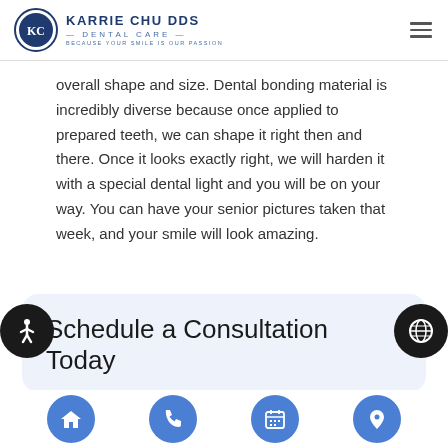Karrie Chu DDS Dental Care — Because Your Smile Is Our Passion
overall shape and size. Dental bonding material is incredibly diverse because once applied to prepared teeth, we can shape it right then and there. Once it looks exactly right, we will harden it with a special dental light and you will be on your way. You can have your senior pictures taken that week, and your smile will look amazing.
Schedule a Consultation Today